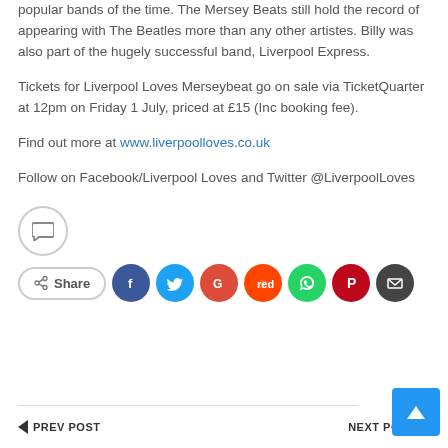popular bands of the time. The Mersey Beats still hold the record of appearing with The Beatles more than any other artistes. Billy was also part of the hugely successful band, Liverpool Express.
Tickets for Liverpool Loves Merseybeat go on sale via TicketQuarter at 12pm on Friday 1 July, priced at £15 (Inc booking fee).
Find out more at www.liverpoolloves.co.uk
Follow on Facebook/Liverpool Loves and Twitter @LiverpoolLoves
[Figure (infographic): Comment button (speech bubble icon in circle), Share button with social media icons: Facebook, Twitter, Google, Reddit, WhatsApp, Pinterest, Email]
← PREV POST   NEXT POST →